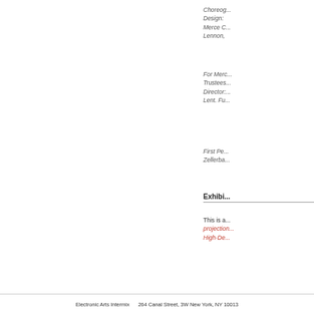Choreog... Design: Merce C... Lennon,
For Merc... Trustees... Director:... Lent. Fu...
First Pe... Zellerba...
Exhibi...
This is a... projection... High-De...
Electronic Arts Intermix     264 Canal Street, 3W New York, NY 10013